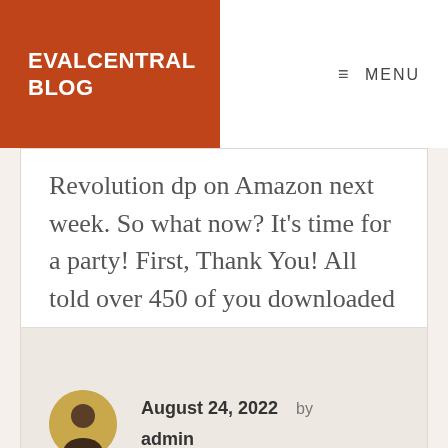EVALCENTRAL BLOG
MENU
Revolution dp on Amazon next week. So what now? It's time for a party! First, Thank You! All told over 450 of you downloaded a free [...]
August 24, 2022  by  admin